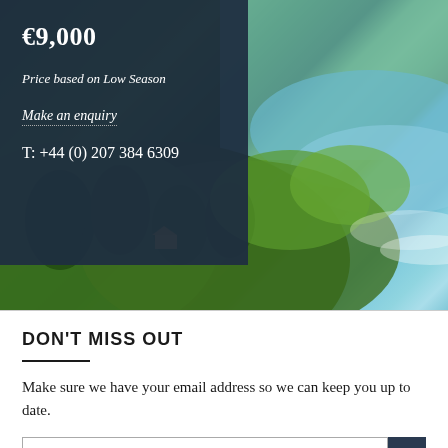[Figure (photo): Aerial view of a tropical coastline with lush green hills, palm trees, and turquoise ocean waves, with a small structure visible among the trees.]
€9,000
Price based on Low Season
Make an enquiry
T: +44 (0) 207 384 6309
DON'T MISS OUT
Make sure we have your email address so we can keep you up to date.